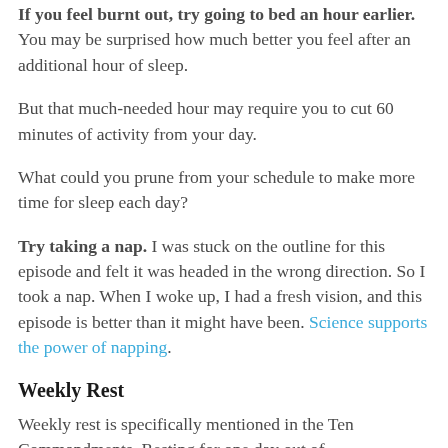If you feel burnt out, try going to bed an hour earlier. You may be surprised how much better you feel after an additional hour of sleep.
But that much-needed hour may require you to cut 60 minutes of activity from your day.
What could you prune from your schedule to make more time for sleep each day?
Try taking a nap. I was stuck on the outline for this episode and felt it was headed in the wrong direction. So I took a nap. When I woke up, I had a fresh vision, and this episode is better than it might have been. Science supports the power of napping.
Weekly Rest
Weekly rest is specifically mentioned in the Ten Commandments. Resting for one day out of